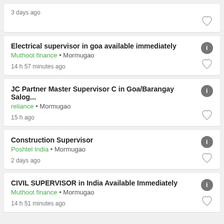3 days ago
Electrical supervisor in goa available immediately
Muthoot finance • Mormugao
14 h 57 minutes ago
JC Partner Master Supervisor C in Goa/Barangay Salog...
reliance • Mormugao
15 h ago
Construction Supervisor
Poshtel India • Mormugao
2 days ago
CIVIL SUPERVISOR in India Available Immediately
Muthoot finance • Mormugao
14 h 51 minutes ago